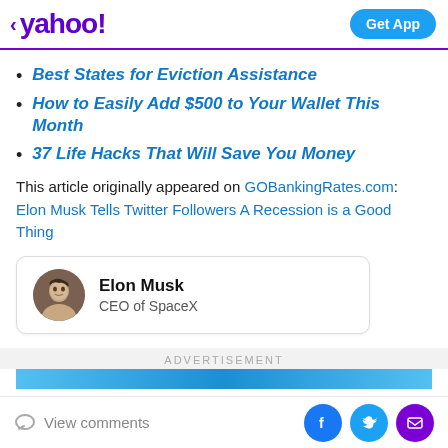yahoo! | Get App
Best States for Eviction Assistance
How to Easily Add $500 to Your Wallet This Month
37 Life Hacks That Will Save You Money
This article originally appeared on GOBankingRates.com: Elon Musk Tells Twitter Followers A Recession is a Good Thing
[Figure (other): Author card showing Elon Musk profile photo (circular avatar), name 'Elon Musk' in bold, and title 'CEO of SpaceX']
ADVERTISEMENT
View comments | Facebook | Twitter | Mail